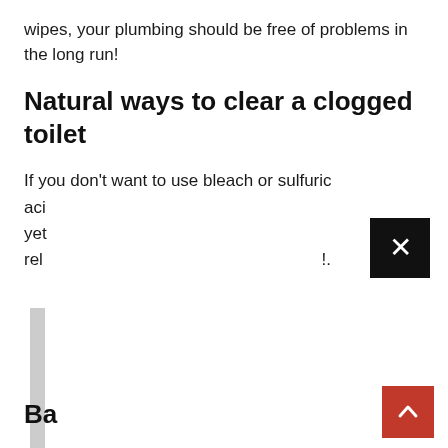wipes, your plumbing should be free of problems in the long run!
Natural ways to clear a clogged toilet
If you don't want to use bleach or sulfuric aci… yet… rel…
[Figure (photo): Partially visible image with gray vertical bar on left side]
Ba…